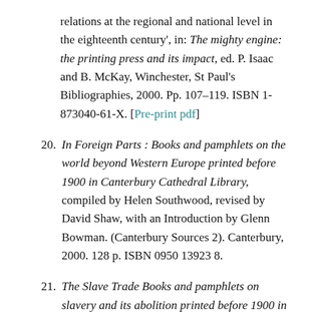relations at the regional and national level in the eighteenth century', in: The mighty engine: the printing press and its impact, ed. P. Isaac and B. McKay, Winchester, St Paul's Bibliographies, 2000. Pp. 107–119. ISBN 1-873040-61-X. [Pre-print pdf]
20. In Foreign Parts : Books and pamphlets on the world beyond Western Europe printed before 1900 in Canterbury Cathedral Library, compiled by Helen Southwood, revised by David Shaw, with an Introduction by Glenn Bowman. (Canterbury Sources 2). Canterbury, 2000. 128 p. ISBN 0950 13923 8.
21. The Slave Trade Books and pamphlets on slavery and its abolition printed before 1900 in Canterbury Cathedral Library, compiled by